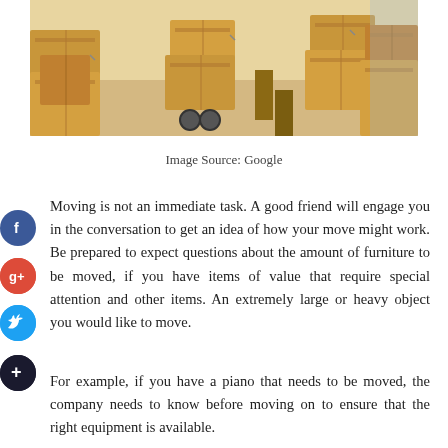[Figure (photo): Photo of cardboard moving boxes being transported on a dolly by movers, shown in a bright room]
Image Source: Google
Moving is not an immediate task. A good friend will engage you in the conversation to get an idea of how your move might work. Be prepared to expect questions about the amount of furniture to be moved, if you have items of value that require special attention and other items. An extremely large or heavy object you would like to move.
For example, if you have a piano that needs to be moved, the company needs to know before moving on to ensure that the right equipment is available.